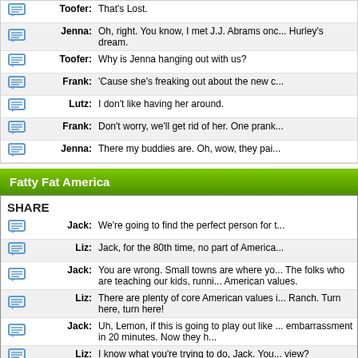|  | Speaker | Quote |
| --- | --- | --- |
| [icon] | Toofer: | That's Lost. |
| [icon] | Jenna: | Oh, right. You know, I met J.J. Abrams onc... Hurley's dream. |
| [icon] | Toofer: | Why is Jenna hanging out with us? |
| [icon] | Frank: | 'Cause she's freaking out about the new c... |
| [icon] | Lutz: | I don't like having her around. |
| [icon] | Frank: | Don't worry, we'll get rid of her. One prank... |
| [icon] | Jenna: | There my buddies are. Oh, wow, they pai... |
Fatty Fat America
SHARE
|  | Speaker | Quote |
| --- | --- | --- |
| [icon] | Jack: | We're going to find the perfect person for t... |
| [icon] | Liz: | Jack, for the 80th time, no part of America... |
| [icon] | Jack: | You are wrong. Small towns are where yo... The folks who are teaching our kids, runni... American values. |
| [icon] | Liz: | There are plenty of core American values i... Ranch. Turn here, turn here! |
| [icon] | Jack: | Uh, Lemon, if this is going to play out like ... embarrassment in 20 minutes. Now they h... |
| [icon] | Liz: | I know what you're trying to do, Jack. You... view? |